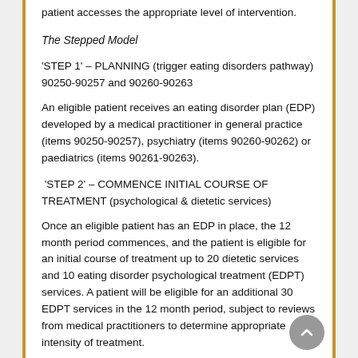patient accesses the appropriate level of intervention.
The Stepped Model
'STEP 1' – PLANNING (trigger eating disorders pathway) 90250-90257 and 90260-90263
An eligible patient receives an eating disorder plan (EDP) developed by a medical practitioner in general practice (items 90250-90257), psychiatry (items 90260-90262) or paediatrics (items 90261-90263).
'STEP 2' – COMMENCE INITIAL COURSE OF TREATMENT (psychological & dietetic services)
Once an eligible patient has an EDP in place, the 12 month period commences, and the patient is eligible for an initial course of treatment up to 20 dietetic services and 10 eating disorder psychological treatment (EDPT) services. A patient will be eligible for an additional 30 EDPT services in the 12 month period, subject to reviews from medical practitioners to determine appropriate intensity of treatment.
'STEP 3" – CONTINUE ON INITIAL COURSE OF TREATMENT 90264-90269 (managing practitioner review and progress up to 20